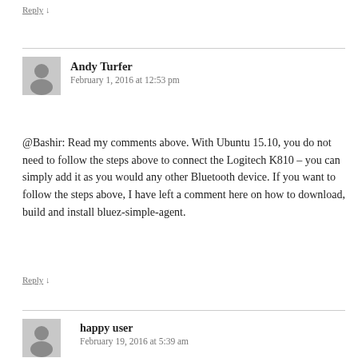Reply ↓
Andy Turfer
February 1, 2016 at 12:53 pm
@Bashir: Read my comments above. With Ubuntu 15.10, you do not need to follow the steps above to connect the Logitech K810 – you can simply add it as you would any other Bluetooth device. If you want to follow the steps above, I have left a comment here on how to download, build and install bluez-simple-agent.
Reply ↓
happy user
February 19, 2016 at 5:39 am